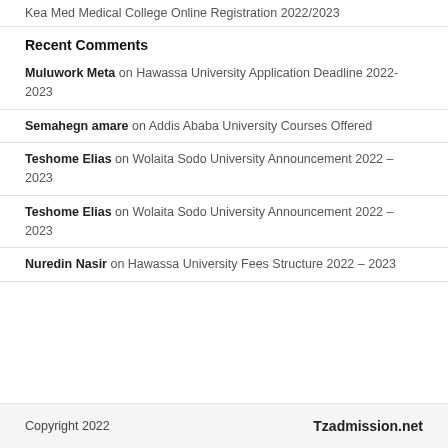Kea Med Medical College Online Registration 2022/2023
Recent Comments
Muluwork Meta on Hawassa University Application Deadline 2022-2023
Semahegn amare on Addis Ababa University Courses Offered
Teshome Elias on Wolaita Sodo University Announcement 2022 – 2023
Teshome Elias on Wolaita Sodo University Announcement 2022 – 2023
Nuredin Nasir on Hawassa University Fees Structure 2022 – 2023
Copyright 2022   Tzadmission.net